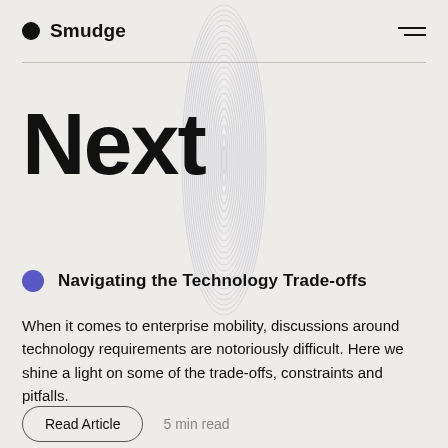Smudge
[Figure (illustration): Decorative concentric spiral/oval pattern in light blue-gray, forming a tall narrow column, centered horizontally across the top portion of the page]
Next
Navigating the Technology Trade-offs
When it comes to enterprise mobility, discussions around technology requirements are notoriously difficult. Here we shine a light on some of the trade-offs, constraints and pitfalls.
Read Article  5 min read